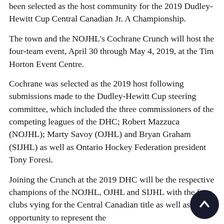been selected as the host community for the 2019 Dudley-Hewitt Cup Central Canadian Jr. A Championship.
The town and the NOJHL's Cochrane Crunch will host the four-team event, April 30 through May 4, 2019, at the Tim Horton Event Centre.
Cochrane was selected as the 2019 host following submissions made to the Dudley-Hewitt Cup steering committee, which included the three commissioners of the competing leagues of the DHC; Robert Mazzuca (NOJHL); Marty Savoy (OJHL) and Bryan Graham (SIJHL) as well as Ontario Hockey Federation president Tony Foresi.
Joining the Crunch at the 2019 DHC will be the respective champions of the NOJHL, OJHL and SIJHL with the four clubs vying for the Central Canadian title as well as the opportunity to represent the